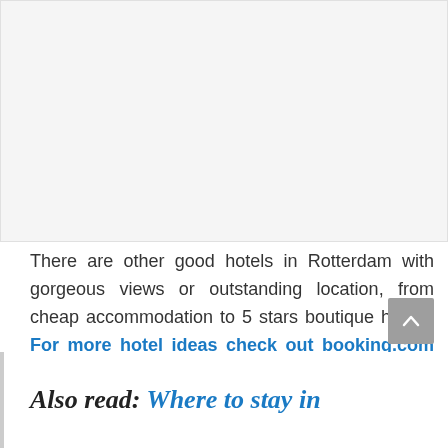[Figure (photo): Placeholder image area, light gray background representing a hotel or Rotterdam view photo]
There are other good hotels in Rotterdam with gorgeous views or outstanding location, from cheap accommodation to 5 stars boutique hotels. For more hotel ideas check out booking.com or read our super guide:
Also read: Where to stay in